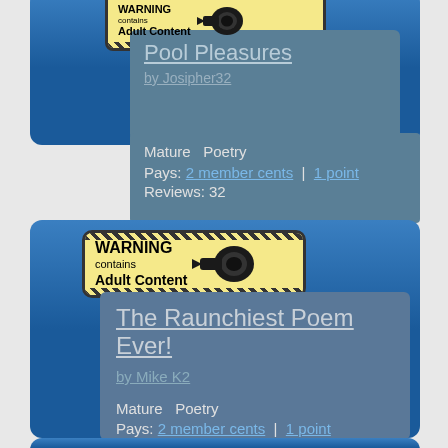[Figure (illustration): WARNING Adult Content badge with yellow background and diagonal stripes (top card, cropped at top)]
Pool Pleasures
by Josipher32
Mature  Poetry
Pays: 2 member cents | 1 point
Reviews: 32
[Figure (illustration): WARNING contains Adult Content badge with yellow background, diagonal stripes, and camera icon]
The Raunchiest Poem Ever!
by Mike K2
Mature  Poetry
Pays: 2 member cents | 1 point
Reviews: 111